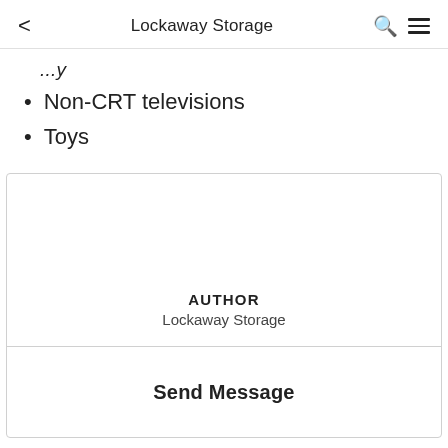< Lockaway Storage 🔍 ☰
...y
Non-CRT televisions
Toys
AUTHOR
Lockaway Storage
Send Message